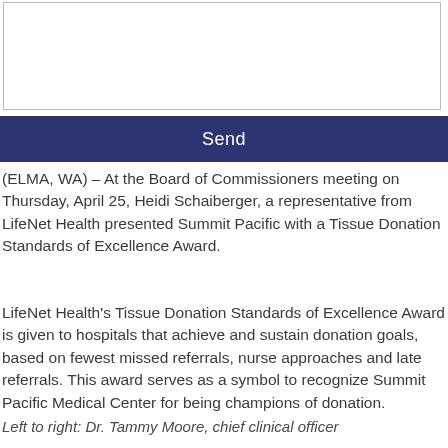[Figure (screenshot): A textarea input box (empty) with a border, representing a web form element.]
Send
(ELMA, WA) – At the Board of Commissioners meeting on Thursday, April 25, Heidi Schaiberger, a representative from LifeNet Health presented Summit Pacific with a Tissue Donation Standards of Excellence Award.
LifeNet Health's Tissue Donation Standards of Excellence Award is given to hospitals that achieve and sustain donation goals, based on fewest missed referrals, nurse approaches and late referrals. This award serves as a symbol to recognize Summit Pacific Medical Center for being champions of donation.
Left to right: Dr. Tammy Moore, chief clinical officer